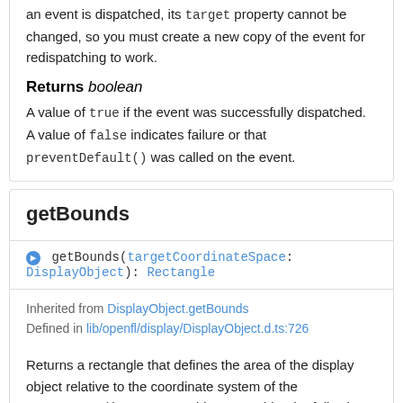an event is dispatched, its target property cannot be changed, so you must create a new copy of the event for redispatching to work.
Returns boolean
A value of true if the event was successfully dispatched. A value of false indicates failure or that preventDefault() was called on the event.
getBounds
getBounds(targetCoordinateSpace: DisplayObject): Rectangle
Inherited from DisplayObject.getBounds
Defined in lib/openfl/display/DisplayObject.d.ts:726
Returns a rectangle that defines the area of the display object relative to the coordinate system of the targetCoordinateSpace object. Consider the following...